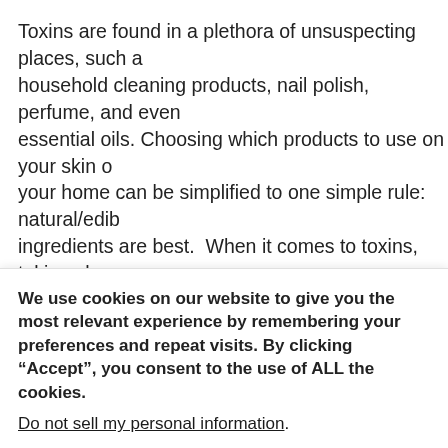Toxins are found in a plethora of unsuspecting places, such as household cleaning products, nail polish, perfume, and even essential oils. Choosing which products to use on your skin or your home can be simplified to one simple rule: natural/edible ingredients are best.  When it comes to toxins, taking chances with products that could harm the environment around you or your own body is not a good idea. When purchasing body and beauty products, you should know the ingredients that are harmful to you. To learn more about how to avoid toxins, click here: https://files.constantcontact.com/66246f9c001/b90c98906-4bdd-b122-6e7379f514f6.pdf
We use cookies on our website to give you the most relevant experience by remembering your preferences and repeat visits. By clicking “Accept”, you consent to the use of ALL the cookies.
Do not sell my personal information.